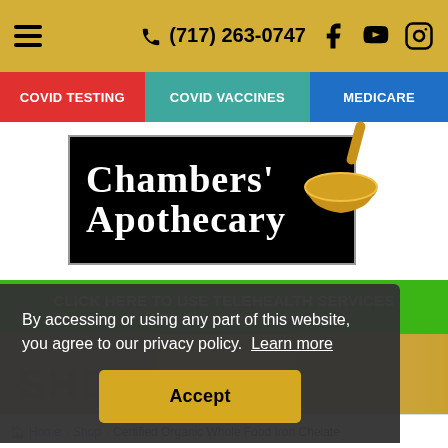(717) 263-0747
COVID TESTING | COVID VACCINES | MEDICARE
[Figure (logo): Chambers' Apothecary logo — black rectangle with white serif text and a gold mortar and pestle]
CLICK HERE TO USE TELEHEALTH SERVICES
THROUGH PHYSICIAN 360
By accessing or using any part of this website, you agree to our privacy policy. Learn more
Accept
SHOP
Home > Shop > Certified Organic Whole Food Iron Chelate